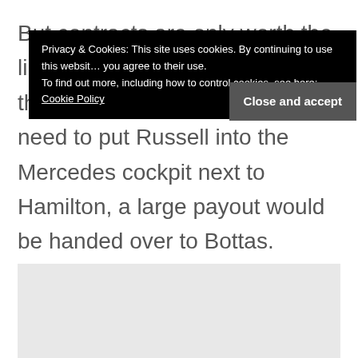But contracts are only worth the lip service given to the driver, at the end of the day if Mercedes need to put Russell into the Mercedes cockpit next to Hamilton, a large payout would be handed over to Bottas.
Privacy & Cookies: This site uses cookies. By continuing to use this website, you agree to their use. To find out more, including how to control cookies, see here: Cookie Policy
[Figure (other): Gray placeholder box at the bottom of the page]